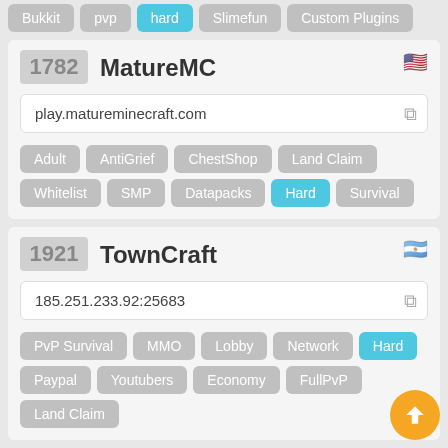Bukkit, pvp, hard, Slimefun, Custom Plugins
1782 MatureMC
play.matureminecraft.com
Adult, AntiGrief, ChestShop, Land Claim, Whitelist, SMP, Datapacks, Hard, Survival
1921 TownCraft
185.251.233.92:25683
PvP Survival, MMO, Lobby, Network, Hard, Paypal, Youtubers, Economy, FullPvP, Land Claim